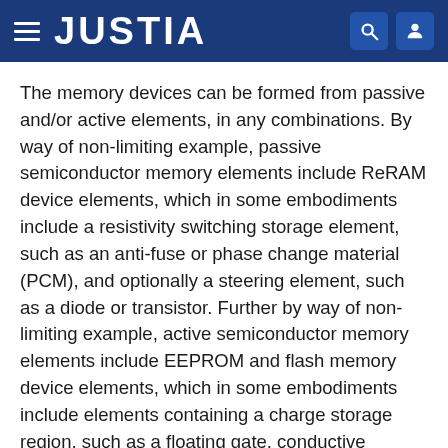JUSTIA
The memory devices can be formed from passive and/or active elements, in any combinations. By way of non-limiting example, passive semiconductor memory elements include ReRAM device elements, which in some embodiments include a resistivity switching storage element, such as an anti-fuse or phase change material (PCM), and optionally a steering element, such as a diode or transistor. Further by way of non-limiting example, active semiconductor memory elements include EEPROM and flash memory device elements, which in some embodiments include elements containing a charge storage region, such as a floating gate, conductive nanoparticles, or a charge storage dielectric material.
Multiple memory elements may be configured so that